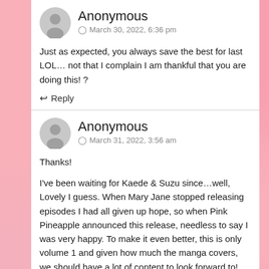Anonymous
March 30, 2022, 6:36 pm
Just as expected, you always save the best for last LOL… not that I complain I am thankful that you are doing this! ?
↩ Reply
Anonymous
March 31, 2022, 3:56 am
Thanks!
I've been waiting for Kaede & Suzu since…well, Lovely I guess. When Mary Jane stopped releasing episodes I had all given up hope, so when Pink Pineapple announced this release, needless to say I was very happy. To make it even better, this is only volume 1 and given how much the manga covers, we should have a lot of content to look forward to!